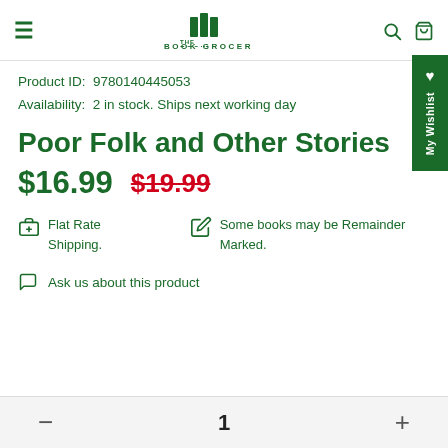THE BOOK GROCER — navigation header with hamburger menu, logo, search and cart icons
Product ID:  9780140445053
Availability:  2 in stock. Ships next working day
Poor Folk and Other Stories
$16.99  $19.99
Flat Rate Shipping.
Some books may be Remainder Marked.
Ask us about this product
1